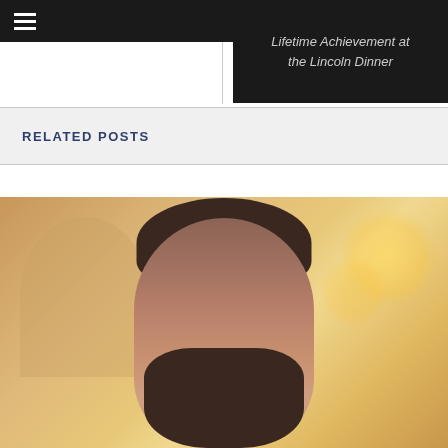≡
Lifetime Achievement at the Lincoln Dinner
RELATED POSTS
[Figure (photo): Close-up portrait photo of a young man with short dark hair and a beard, smiling slightly. Background is blurred with warm bokeh lights and an arched architectural element on the left.]